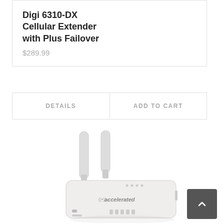Digi 6310-DX Cellular Extender with Plus Failover
$289.99
DETAILS
ADD TO CART
[Figure (photo): White Digi 6310-DX cellular extender device (branded 'accelerated') with two external antennas, USB port, and ventilation slots on the front panel, shown at a slight angle against a white background.]